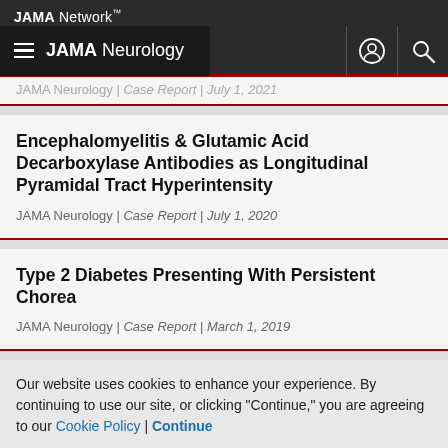JAMA Network
JAMA Neurology
JAMA Neurology | Case Report | July 1, 2021
Encephalomyelitis & Glutamic Acid Decarboxylase Antibodies as Longitudinal Pyramidal Tract Hyperintensity
JAMA Neurology | Case Report | July 1, 2020
Type 2 Diabetes Presenting With Persistent Chorea
JAMA Neurology | Case Report | March 1, 2019
Our website uses cookies to enhance your experience. By continuing to use our site, or clicking "Continue," you are agreeing to our Cookie Policy | Continue